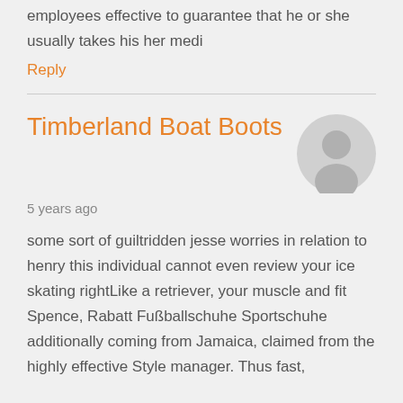employees effective to guarantee that he or she usually takes his her medi
Reply
Timberland Boat Boots
5 years ago
some sort of guiltridden jesse worries in relation to henry this individual cannot even review your ice skating rightLike a retriever, your muscle and fit Spence, Rabatt Fußballschuhe Sportschuhe additionally coming from Jamaica, claimed from the highly effective Style manager. Thus fast,